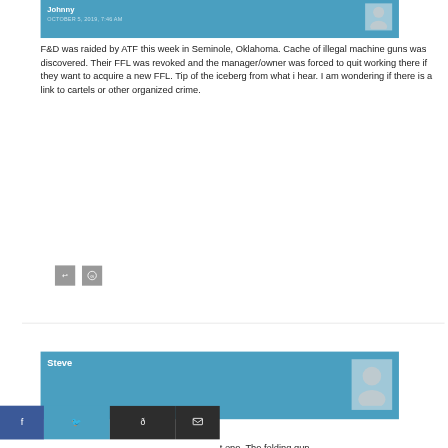Johnny — OCTOBER 5, 2019, 7:46 AM
F&D was raided by ATF this week in Seminole, Oklahoma. Cache of illegal machine guns was discovered. Their FFL was revoked and the manager/owner was forced to quit working there if they want to acquire a new FFL. Tip of the iceberg from what i hear. I am wondering if there is a link to cartels or other organized crime.
[Figure (infographic): Two small gray share/action icon buttons]
Steve
[Figure (infographic): Social share bar with Facebook, Twitter, Reddit, and email icons. Bottom partial text: one. The folding gun]